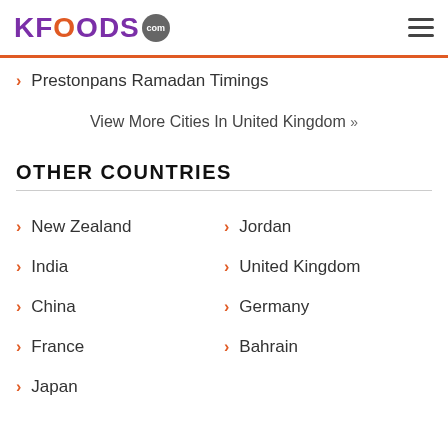KFOODS.com
Prestonpans Ramadan Timings
View More Cities In United Kingdom »
OTHER COUNTRIES
New Zealand
Jordan
India
United Kingdom
China
Germany
France
Bahrain
Japan